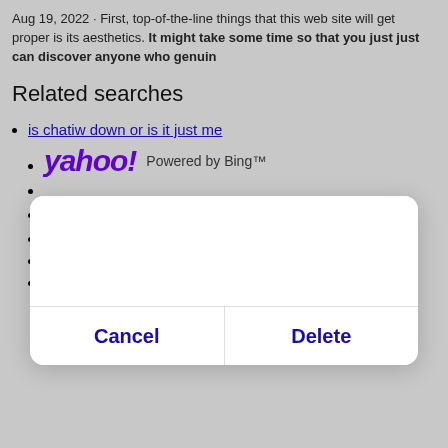Aug 19, 2022 · First, top-of-the-line things that this web site will get proper is its aesthetics. It might take some time so that you just just can discover anyone who genuin
Related searches
is chatiw down or is it just me
[Figure (logo): Yahoo! logo in purple italic bold font followed by 'Powered by Bing™' text]
Sign In
Help
Privacy/Terms (Updated)
Privacy Dashboard
[Figure (screenshot): Modal dialog box with Cancel and Delete buttons]